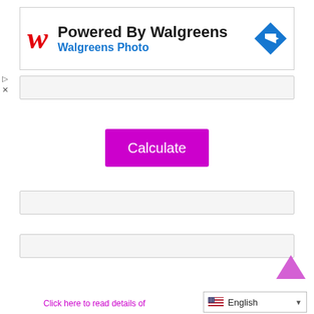[Figure (screenshot): Walgreens advertisement banner showing the Walgreens 'W' logo in red italic, text 'Powered By Walgreens' in black bold and 'Walgreens Photo' in blue, and a blue diamond-shaped navigation icon on the right]
[Figure (screenshot): Empty gray input field (text box)]
[Figure (screenshot): Purple 'Calculate' button]
[Figure (screenshot): Empty gray input field (text box)]
[Figure (screenshot): Empty gray input field (text box)]
[Figure (screenshot): Scroll-to-top chevron arrow in purple/pink]
Click here to read details of
[Figure (screenshot): Language selector showing US flag and 'English' with dropdown arrow]